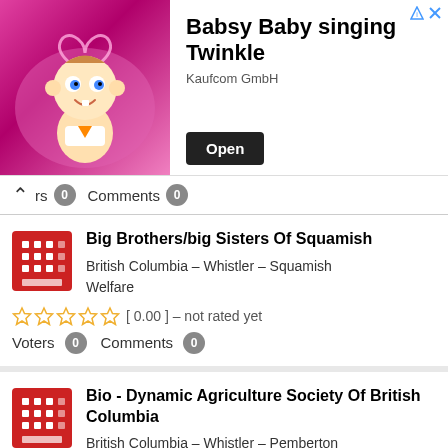[Figure (screenshot): Advertisement banner for Babsy Baby singing Twinkle by Kaufcom GmbH with Open button]
rs 0   Comments 0
Big Brothers/big Sisters Of Squamish
British Columbia – Whistler – Squamish
Welfare
[ 0.00 ] – not rated yet
Voters 0   Comments 0
Bio - Dynamic Agriculture Society Of British Columbia
British Columbia – Whistler – Pemberton
Benefits to the Community & Other
[ 0.00 ] – not rated yet
Voters 0   Comments 0
Birken Fire Protection Society